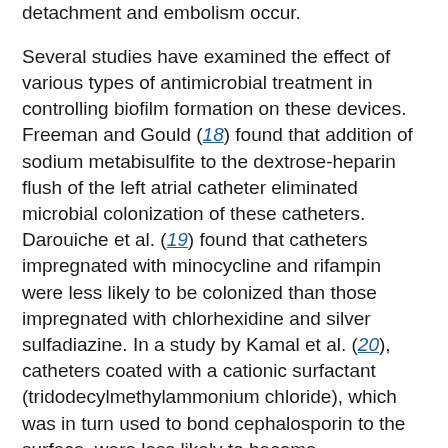detachment and embolism occur.
Several studies have examined the effect of various types of antimicrobial treatment in controlling biofilm formation on these devices. Freeman and Gould (18) found that addition of sodium metabisulfite to the dextrose-heparin flush of the left atrial catheter eliminated microbial colonization of these catheters. Darouiche et al. (19) found that catheters impregnated with minocycline and rifampin were less likely to be colonized than those impregnated with chlorhexidine and silver sulfadiazine. In a study by Kamal et al. (20), catheters coated with a cationic surfactant (tridodecylmethylammonium chloride), which was in turn used to bond cephalosporin to the surface, were less likely to become contaminated and develop biofilms than were untreated catheters. Flowers et al. (21) found that an attachable subcutaneous cuff containing silver ions inserted